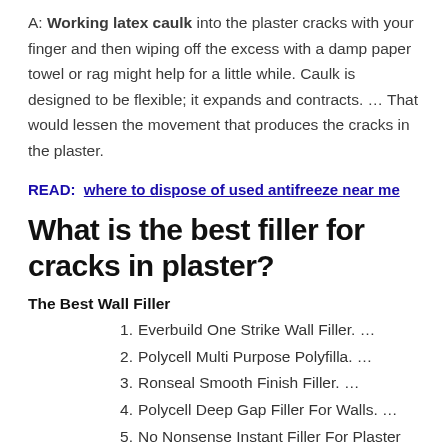A: Working latex caulk into the plaster cracks with your finger and then wiping off the excess with a damp paper towel or rag might help for a little while. Caulk is designed to be flexible; it expands and contracts. … That would lessen the movement that produces the cracks in the plaster.
READ:  where to dispose of used antifreeze near me
What is the best filler for cracks in plaster?
The Best Wall Filler
1. Everbuild One Strike Wall Filler. …
2. Polycell Multi Purpose Polyfilla. …
3. Ronseal Smooth Finish Filler. …
4. Polycell Deep Gap Filler For Walls. …
5. No Nonsense Instant Filler For Plaster Walls